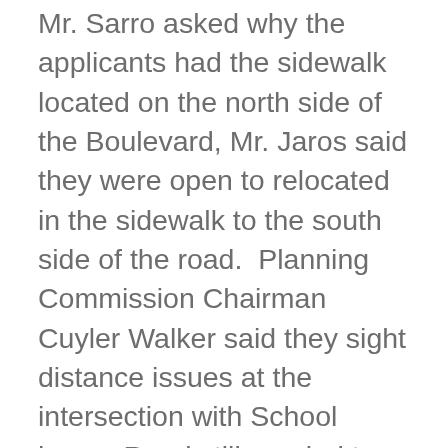Mr. Sarro asked why the applicants had the sidewalk located on the north side of the Boulevard, Mr. Jaros said they were open to relocated in the sidewalk to the south side of the road.  Planning Commission Chairman Cuyler Walker said they sight distance issues at the intersection with School house Road still needed to be addressed.  Dave Gibbons, Engineer for the application said their surveyors went to the site last week and were evaluating the options.  Township Engineer Jim Hatfield said he was concerned that raising the profile of the boulevard could make water pond on School house Road and he would need to see more calculations before they could pursue that option.  Mr. Weer and Mr. Sarro said they would like to see the sidewalk moved the south-side of the